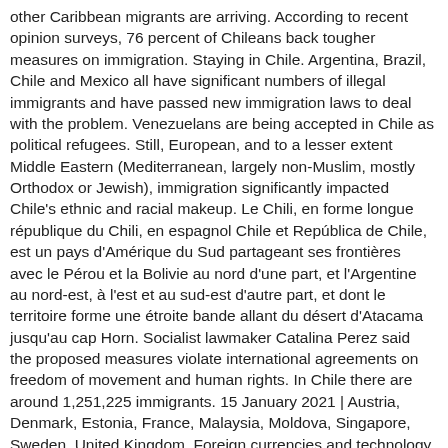other Caribbean migrants are arriving. According to recent opinion surveys, 76 percent of Chileans back tougher measures on immigration. Staying in Chile. Argentina, Brazil, Chile and Mexico all have significant numbers of illegal immigrants and have passed new immigration laws to deal with the problem. Venezuelans are being accepted in Chile as political refugees. Still, European, and to a lesser extent Middle Eastern (Mediterranean, largely non-Muslim, mostly Orthodox or Jewish), immigration significantly impacted Chile's ethnic and racial makeup. Le Chili, en forme longue république du Chili, en espagnol Chile et República de Chile, est un pays d'Amérique du Sud partageant ses frontières avec le Pérou et la Bolivie au nord d'une part, et l'Argentine au nord-est, à l'est et au sud-est d'autre part, et dont le territoire forme une étroite bande allant du désert d'Atacama jusqu'au cap Horn. Socialist lawmaker Catalina Perez said the proposed measures violate international agreements on freedom of movement and human rights. In Chile there are around 1,251,225 immigrants. 15 January 2021 | Austria, Denmark, Estonia, France, Malaysia, Moldova, Singapore, Sweden, United Kingdom. Foreign currencies and technology were given privileged status in Chile's new neoliberal economy, and the immigration that accompanied them was seen as beneficial to the country as well. La population chilienne a reçu immigrants, principalement d'Amérique latine, l'Europe et le Moyen-Orient au cours des XIX e et XX e siècles. Significant immigration to Chile did not end with the coming of the Spaniards. HEAD OFFICE. General Huntic 303. Oficina 47 Región 4839484. Región de la...